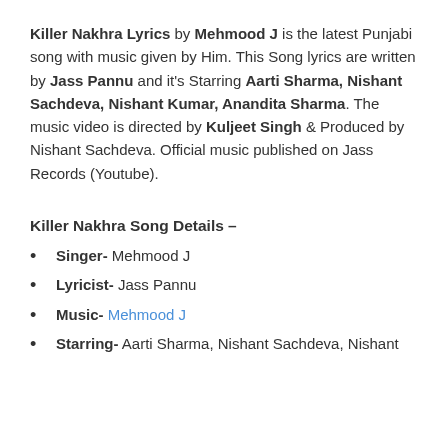Killer Nakhra Lyrics by Mehmood J is the latest Punjabi song with music given by Him. This Song lyrics are written by Jass Pannu and it's Starring Aarti Sharma, Nishant Sachdeva, Nishant Kumar, Anandita Sharma. The music video is directed by Kuljeet Singh & Produced by Nishant Sachdeva. Official music published on Jass Records (Youtube).
Killer Nakhra Song Details –
Singer- Mehmood J
Lyricist- Jass Pannu
Music- Mehmood J
Starring- Aarti Sharma, Nishant Sachdeva, Nishant Kumar, Anandita Sharma